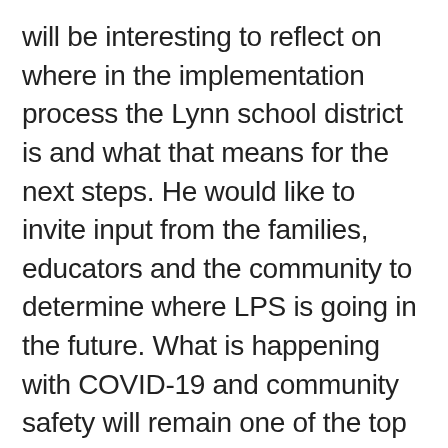will be interesting to reflect on where in the implementation process the Lynn school district is and what that means for the next steps. He would like to invite input from the families, educators and the community to determine where LPS is going in the future. What is happening with COVID-19 and community safety will remain one of the top priorities in 2022 as well, but Nicholson would like to put more emphasis on addressing the effects of the pandemic on the mental health of students and educators. “We’ve gone through a lot and now we’re heading into year three of this pandemic. It has been very trying for the public schools,”